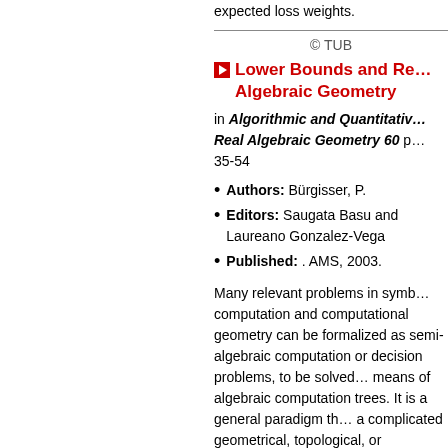expected loss weights.
© TUB
Lower Bounds and Re… Algebraic Geometry
in Algorithmic and Quantitativ… Real Algebraic Geometry 60 p… 35-54
Authors: Bürgisser, P.
Editors: Saugata Basu and Laureano Gonzalez-Vega
Published: . AMS, 2003.
Many relevant problems in symb… computation and computational geometry can be formalized as semi-algebraic computation or decision problems, to be solved… means of algebraic computation trees. It is a general paradigm th… a complicated geometrical, topological, or combinatorial structure of a problem should r…